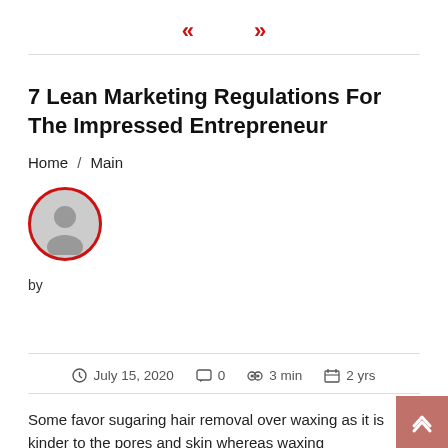« »
7 Lean Marketing Regulations For The Impressed Entrepreneur
Home / Main
[Figure (illustration): Circular avatar placeholder icon with red border and grey silhouette]
by
July 15, 2020  0  3 min  2 yrs
Some favor sugaring hair removal over waxing as it is kinder to the pores and skin whereas waxing